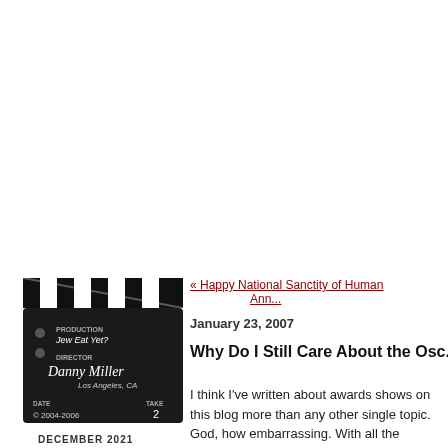[Figure (photo): A film clapperboard prop with text: PRODUCTION Jew Eat Yet?, DIRECTOR Danny Miller, Los Angeles, CA, DATE © 2004-2006, TAKE 2]
DECEMBER 2021
« Happy National Sanctity of Human Ann...
January 23, 2007
Why Do I Still Care About the Osc...
I think I've written about awards shows on this blog more than any other single topic. God, how embarrassing. With all the